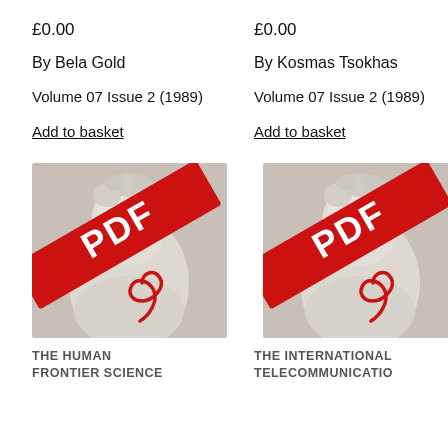£0.00
£0.00
By Bela Gold
By Kosmas Tsokhas
Volume 07 Issue 2 (1989)
Volume 07 Issue 2 (1989)
Add to basket
Add to basket
[Figure (illustration): PDF document thumbnail showing a classical marble sculpture bust with a red diagonal PDF banner and Adobe PDF logo icon]
[Figure (illustration): PDF document thumbnail showing a classical marble sculpture bust with a red diagonal PDF banner and Adobe PDF logo icon]
THE HUMAN FRONTIER SCIENCE
THE INTERNATIONAL TELECOMMUNICATIO